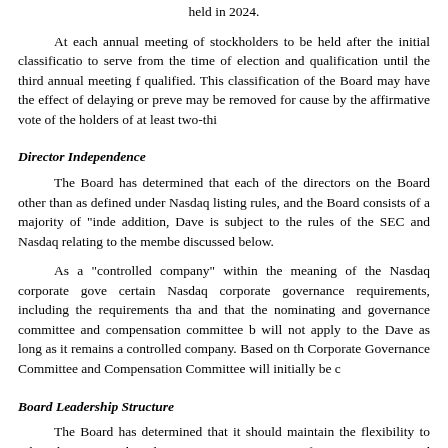held in 2024.
At each annual meeting of stockholders to be held after the initial classification, to serve from the time of election and qualification until the third annual meeting following qualified. This classification of the Board may have the effect of delaying or preventing may be removed for cause by the affirmative vote of the holders of at least two-thirds
Director Independence
The Board has determined that each of the directors on the Board other than as defined under Nasdaq listing rules, and the Board consists of a majority of "independent" directors. In addition, Dave is subject to the rules of the SEC and Nasdaq relating to the membership of committees, as discussed below.
As a "controlled company" within the meaning of the Nasdaq corporate governance rules, certain Nasdaq corporate governance requirements, including the requirements that and that the nominating and governance committee and compensation committee be will not apply to the Dave as long as it remains a controlled company. Based on the Corporate Governance Committee and Compensation Committee will initially be comprised
Board Leadership Structure
The Board has determined that it should maintain the flexibility to select the structure based on circumstances existing from time to time and based on criteria that stockholders, including the composition, skills, diversity and experience of the Board, in which it operates and governance efficiency. Jason Wilk has been elected to serve Governance Guidelines, which provide for the appointment of a lead independent director. Carroll serves as the initial lead independent director.